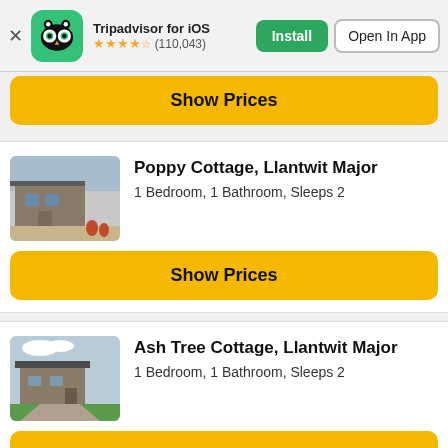Tripadvisor for iOS ★★★★½ (110,043) Install | Open In App
Show Prices
Poppy Cottage, Llantwit Major
1 Bedroom, 1 Bathroom, Sleeps 2
Show Prices
Ash Tree Cottage, Llantwit Major
1 Bedroom, 1 Bathroom, Sleeps 2
Show Prices